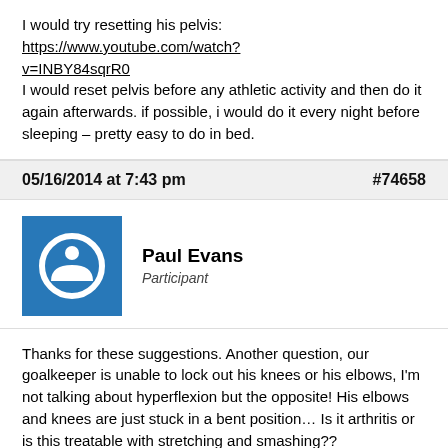I would try resetting his pelvis: https://www.youtube.com/watch?v=INBY84sqrR0 I would reset pelvis before any athletic activity and then do it again afterwards. if possible, i would do it every night before sleeping – pretty easy to do in bed.
05/16/2014 at 7:43 pm  #74658
Paul Evans Participant
Thanks for these suggestions. Another question, our goalkeeper is unable to lock out his knees or his elbows, I'm not talking about hyperflexion but the opposite! His elbows and knees are just stuck in a bent position… Is it arthritis or is this treatable with stretching and smashing??
05/16/2014 at 10:12 pm  #74659